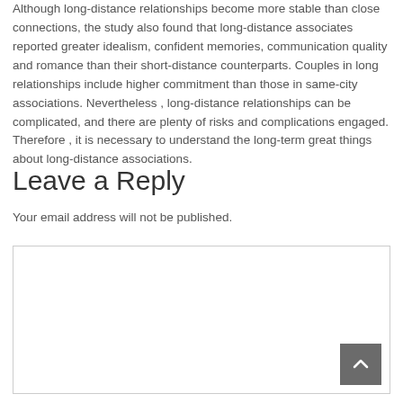Although long-distance relationships become more stable than close connections, the study also found that long-distance associates reported greater idealism, confident memories, communication quality and romance than their short-distance counterparts. Couples in long relationships include higher commitment than those in same-city associations. Nevertheless , long-distance relationships can be complicated, and there are plenty of risks and complications engaged. Therefore , it is necessary to understand the long-term great things about long-distance associations.
Leave a Reply
Your email address will not be published.
Comment